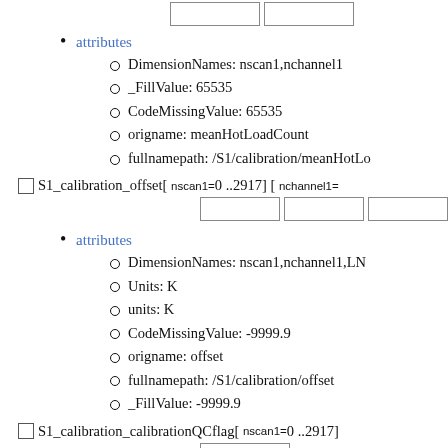attributes
DimensionNames: nscan1,nchannel1
_FillValue: 65535
CodeMissingValue: 65535
origname: meanHotLoadCount
fullnamepath: /S1/calibration/meanHotLo...
S1_calibration_offset[ nscan1= 0 ..2917] [ nchannel1=...
attributes
DimensionNames: nscan1,nchannel1,LN...
Units: K
units: K
CodeMissingValue: -9999.9
origname: offset
fullnamepath: /S1/calibration/offset
_FillValue: -9999.9
S1_calibration_calibrationQCflag[ nscan1= 0 ..2917]
attributes